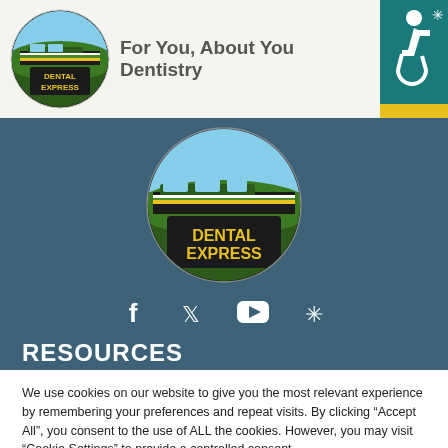[Figure (logo): Dental Express circular logo with train and landscape, small version in header]
For You, About You Dentistry
[Figure (logo): Accessibility icon - wheelchair symbol in teal box with yellow stripe]
[Figure (logo): Dental Express large circular logo centered on teal background]
[Figure (illustration): Social media icons row: Facebook, Twitter, YouTube, Yelp]
RESOURCES
We use cookies on our website to give you the most relevant experience by remembering your preferences and repeat visits. By clicking “Accept All”, you consent to the use of ALL the cookies. However, you may visit “Cookie Settings” to provide a controlled consent.